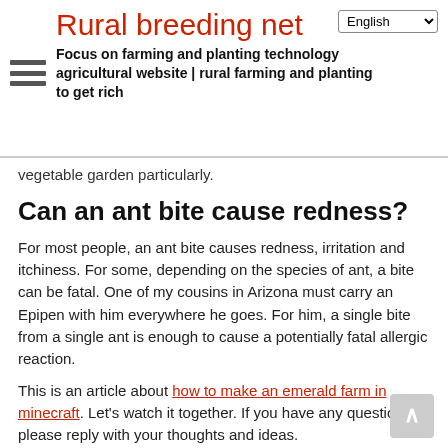Rural breeding net – Focus on farming and planting technology agricultural website | rural farming and planting to get rich
vegetable garden particularly.
Can an ant bite cause redness?
For most people, an ant bite causes redness, irritation and itchiness. For some, depending on the species of ant, a bite can be fatal. One of my cousins in Arizona must carry an Epipen with him everywhere he goes. For him, a single bite from a single ant is enough to cause a potentially fatal allergic reaction.
This is an article about how to make an emerald farm in minecraft. Let's watch it together. If you have any questions, please reply with your thoughts and ideas.
Categories: Uncategorized
Tags: amp, ants